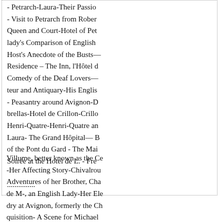- Petrarch-Laura-Their Passion - Visit to Petrarch from Robert Queen and Court-Hotel of Pet- lady's Comparison of English Host's Anecdote of the Busts— Residence – The Inn, l'Hôtel d- Comedy of the Deaf Lovers— teur and Antiquary-His Englis- - Peasantry around Avignon-D- brellas-Hotel de Crillon-Crillo- Henri-Quatre-Henri-Quatre an- Laura- The Grand Hôpital— B- of the Pont du Gard - The Mai- Soirée at the Hotel de L. - Fre- ...............
Villume, better known as the Ce- -Her Affecting Story-Chivalrou- Adventures of her Brother, Cha- de M-, an English Lady-Her Ele- dry at Avignon, formerly the Ch- quisition- A Scene for Michael